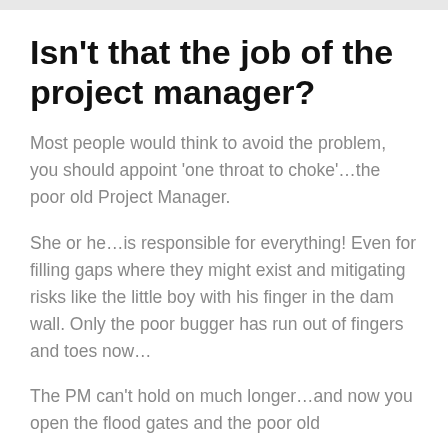Isn't that the job of the project manager?
Most people would think to avoid the problem, you should appoint 'one throat to choke'…the poor old Project Manager.
She or he…is responsible for everything! Even for filling gaps where they might exist and mitigating risks like the little boy with his finger in the dam wall. Only the poor bugger has run out of fingers and toes now…
The PM can't hold on much longer…and now you open the flood gates and the poor old